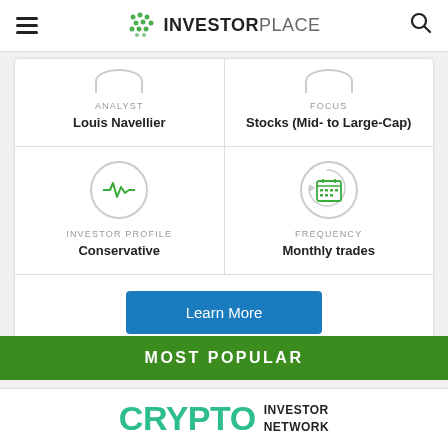InvestorPlace
ANALYST
Louis Navellier
FOCUS
Stocks (Mid- to Large-Cap)
INVESTOR PROFILE
Conservative
FREQUENCY
Monthly trades
Learn More
MOST POPULAR
[Figure (logo): Crypto Investor Network logo in green and black text]